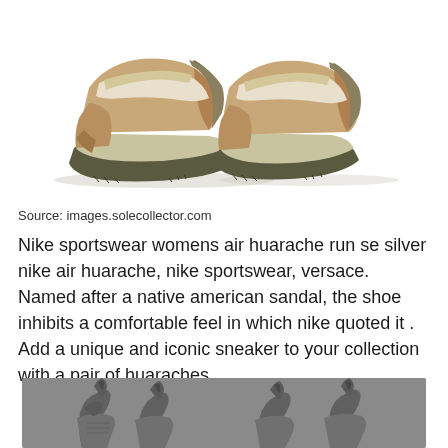[Figure (photo): Nike Air Huarache sneakers in tan/wheat and olive colorway shown from side profile on white background]
Source: images.solecollector.com
Nike sportswear womens air huarache run se silver nike air huarache, nike sportswear, versace. Named after a native american sandal, the shoe inhibits a comfortable feel in which nike quoted it . Add a unique and iconic sneaker to your collection with a pair of huaraches.
[Figure (photo): Close-up of Nike Air Huarache heel tabs in grey colorway against grey background, showing two shoes side by side]